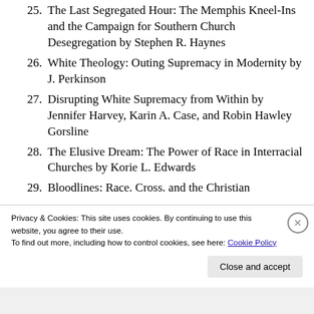25. The Last Segregated Hour: The Memphis Kneel-Ins and the Campaign for Southern Church Desegregation by Stephen R. Haynes
26. White Theology: Outing Supremacy in Modernity by J. Perkinson
27. Disrupting White Supremacy from Within by Jennifer Harvey, Karin A. Case, and Robin Hawley Gorsline
28. The Elusive Dream: The Power of Race in Interracial Churches by Korie L. Edwards
29. Bloodlines: Race. Cross. and the Christian
Privacy & Cookies: This site uses cookies. By continuing to use this website, you agree to their use.
To find out more, including how to control cookies, see here: Cookie Policy
Close and accept